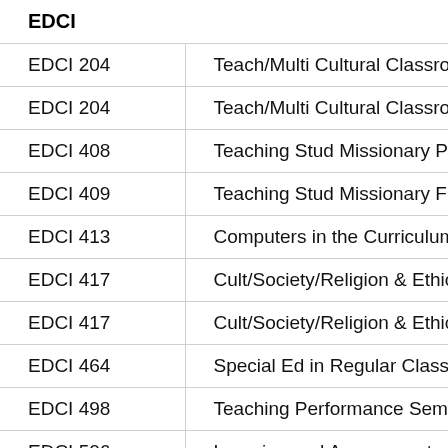| EDCI |  |
| --- | --- |
| EDCI 204 | Teach/Multi Cultural Classroo |
| EDCI 204 | Teach/Multi Cultural Classroo |
| EDCI 408 | Teaching Stud Missionary Prep |
| EDCI 409 | Teaching Stud Missionary Fldw |
| EDCI 413 | Computers in the Curriculum |
| EDCI 417 | Cult/Society/Religion & Ethics |
| EDCI 417 | Cult/Society/Religion & Ethics |
| EDCI 464 | Special Ed in Regular Classroo |
| EDCI 498 | Teaching Performance Semina |
| EDCI 506 | Learning and Assessment |
| EDCI 589AC | Semi Eysoed Stem Education |